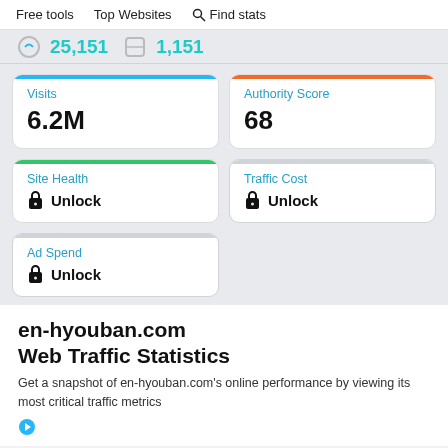Free tools  Top Websites  Find stats
25,151  1,151
Visits
6.2M
Authority Score
68
Site Health
Unlock
Traffic Cost
Unlock
Ad Spend
Unlock
en-hyouban.com
Web Traffic Statistics
Get a snapshot of en-hyouban.com's online performance by viewing its most critical traffic metrics